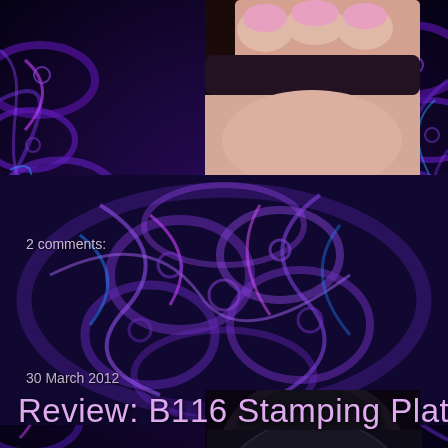[Figure (photo): Top portion: close-up of fingers with pink nail polish holding a dark object, against a dark purple fractal swirling background]
2 comments:
30 March 2012
Review: B116 Stamping Plate
[Figure (photo): Black oval nail stamping plate labeled B116 showing various nail art designs including skull and crossbones, spider, paisley, snake, and floral motifs engraved on the plate surface]